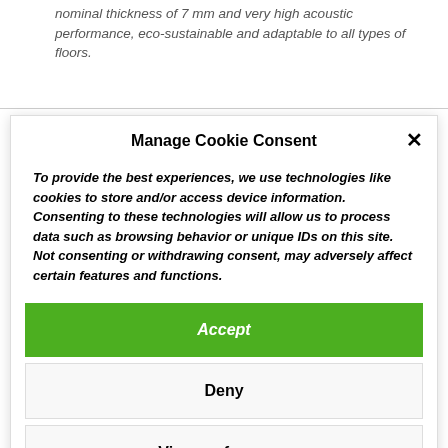nominal thickness of 7 mm and very high acoustic performance, eco-sustainable and adaptable to all types of floors.
Manage Cookie Consent
To provide the best experiences, we use technologies like cookies to store and/or access device information. Consenting to these technologies will allow us to process data such as browsing behavior or unique IDs on this site. Not consenting or withdrawing consent, may adversely affect certain features and functions.
Accept
Deny
View preferences
Cookie  Privacy